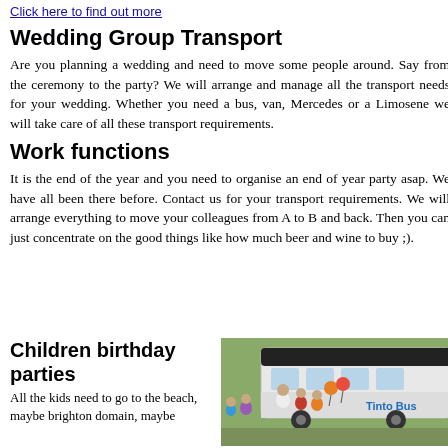Click here to find out more
Wedding Group Transport
Are you planning a wedding and need to move some people around. Say from the ceremony to the party? We will arrange and manage all the transport needs for your wedding. Whether you need a bus, van, Mercedes or a Limosene we will take care of all these transport requirements.
Work functions
It is the end of the year and you need to organise an end of year party asap. We have all been there before. Contact us for your transport requirements. We will arrange everything to move your colleagues from A to B and back. Then you can just concentrate on the good things like how much beer and wine to buy ;).
Children birthday parties
All the kids need to go to the beach, maybe brighton domain, maybe
[Figure (photo): Photo of children near a Tinto Bus with people and balloons visible]